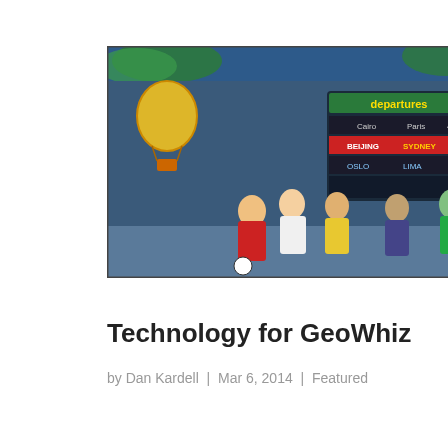[Figure (screenshot): Animated screenshot of GeoWhiz game showing cartoon characters in an international airport with a departure board showing cities like Beijing, Sydney, Lima]
Technology for GeoWhiz
by Dan Kardell | Mar 6, 2014 | Featured
GeoWhiz Universe (www.geowhiz.com) is a digital media and online/mobile-gaming platform with proprietary content/functionality for global tweens (kids ages 7-14 years, but interesting to “kids of all ages”) that does three things: 1. Connects kids around the world...
[Figure (screenshot): Blue background with tablet/phone device showing colorful app icons]